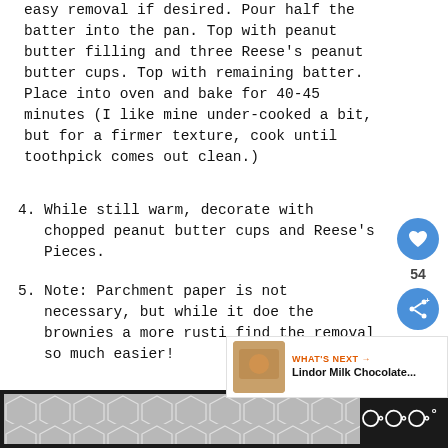easy removal if desired. Pour half the batter into the pan. Top with peanut butter filling and three Reese's peanut butter cups. Top with remaining batter. Place into oven and bake for 40-45 minutes (I like mine under-cooked a bit, but for a firmer texture, cook until toothpick comes out clean.)
4. While still warm, decorate with chopped peanut butter cups and Reese's Pieces.
5. Note: Parchment paper is not necessary, but while it does give the brownies a more rustic look, I find the removal so much easier!
[Figure (other): Footer advertisement area with geometric hexagonal pattern in gray tones, and a logo reading WWW with degree symbol on dark background]